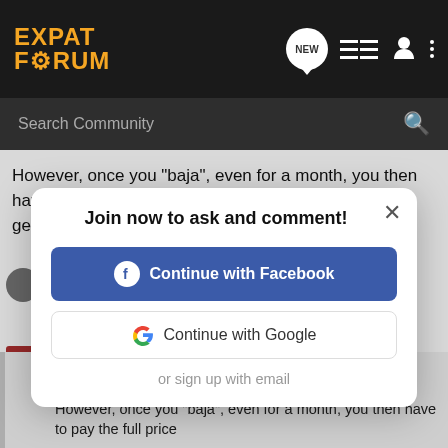[Figure (screenshot): Expat Forum logo — orange bold text 'EXPAT FORUM' with gear icon]
Search Community
However, once you "baja", even for a month, you then have to pay the full price apparently (according to my gestor) as you are no longer a new registration.
[Figure (screenshot): Modal dialog: Join now to ask and comment! with Continue with Facebook button, Continue with Google button, and or sign up with email option]
goingtobcn said: That'd make a pretty good difference to his calculations! However, once you "baja", even for a month, you then have to pay the full price